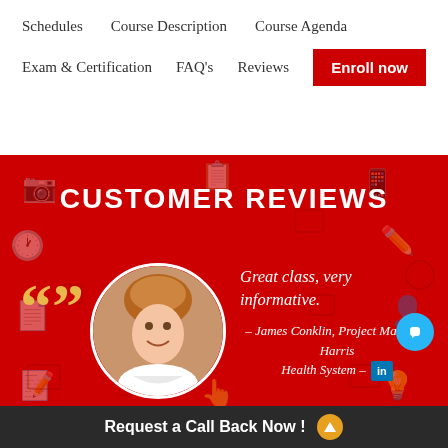Schedules   Course Description   Course Agenda   Exam & Certification   FAQ's   Reviews   Enroll now
CUSTOMER REVIEWS
[Figure (photo): Circular profile photo of James Conklin, a man with short hair, smiling, on a red background]
Great class, very informative.
— James Conklin, Project Manager, Harris Health System -- in
Request a Call Back Now !